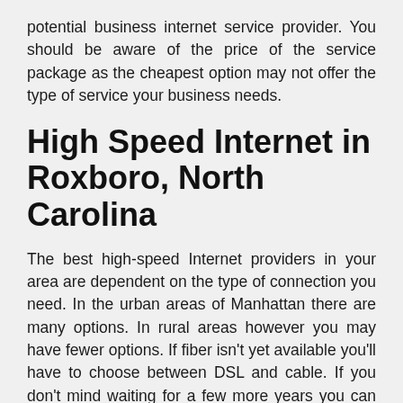potential business internet service provider. You should be aware of the price of the service package as the cheapest option may not offer the type of service your business needs.
High Speed Internet in Roxboro, North Carolina
The best high-speed Internet providers in your area are dependent on the type of connection you need. In the urban areas of Manhattan there are many options. In rural areas however you may have fewer options. If fiber isn't yet available you'll have to choose between DSL and cable. If you don't mind waiting for a few more years you can even choose DSL or cable in a rural area.
If you want to see what providers are available in your